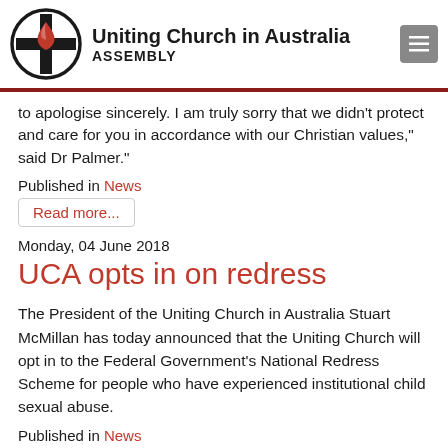Uniting Church in Australia ASSEMBLY
to apologise sincerely. I am truly sorry that we didn't protect and care for you in accordance with our Christian values," said Dr Palmer."
Published in News
Read more...
Monday, 04 June 2018
UCA opts in on redress
The President of the Uniting Church in Australia Stuart McMillan has today announced that the Uniting Church will opt in to the Federal Government's National Redress Scheme for people who have experienced institutional child sexual abuse.
Published in News